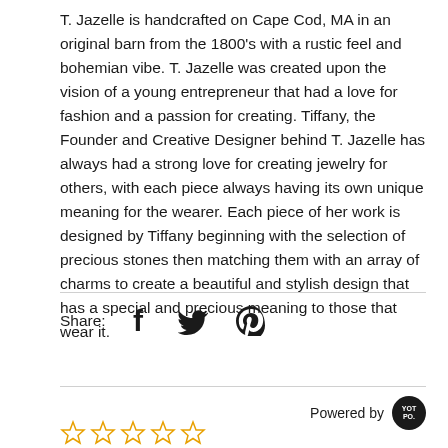T. Jazelle is handcrafted on Cape Cod, MA in an original barn from the 1800's with a rustic feel and bohemian vibe. T. Jazelle was created upon the vision of a young entrepreneur that had a love for fashion and a passion for creating. Tiffany, the Founder and Creative Designer behind T. Jazelle has always had a strong love for creating jewelry for others, with each piece always having its own unique meaning for the wearer. Each piece of her work is designed by Tiffany beginning with the selection of precious stones then matching them with an array of charms to create a beautiful and stylish design that has a special and precious meaning to those that wear it.
Share:
[Figure (infographic): Social share icons: Facebook, Twitter, Pinterest]
Powered by [Yotpo logo]
[Figure (infographic): Five empty star rating icons in gold/yellow outline]